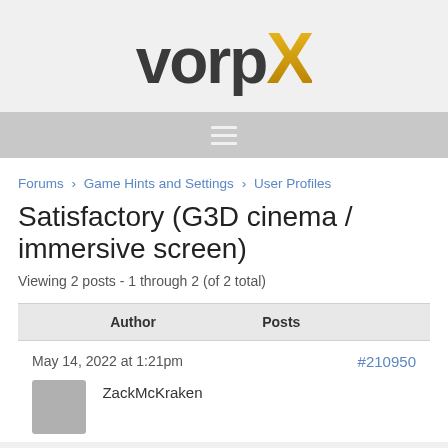[Figure (logo): vorpX logo — 'vorp' in dark grey bold text and 'X' in gold/amber gradient bold text]
[Figure (other): Hamburger menu icon (three horizontal white lines) on a grey navigation bar background]
Forums › Game Hints and Settings › User Profiles
Satisfactory (G3D cinema / immersive screen)
Viewing 2 posts - 1 through 2 (of 2 total)
| Author | Posts |
| --- | --- |
| May 14, 2022 at 1:21pm | #210950 |
| ZackMcKraken |  |
ZackMcKraken